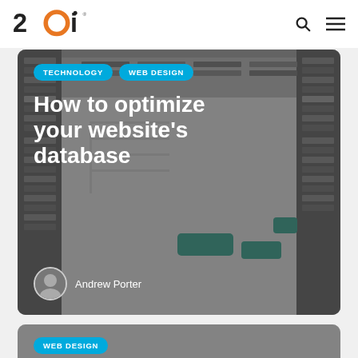20i [logo] — navigation with search and menu icons
[Figure (photo): Aerial view of a large modern library interior with bookshelves, open plan floors, staircases and seating]
How to optimize your website's database
TECHNOLOGY   WEB DESIGN
Andrew Porter
[Figure (photo): Partial second article card with grey background]
What web designers